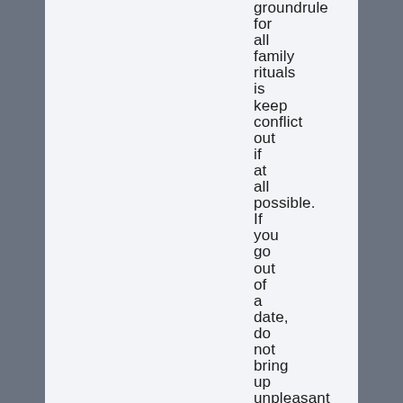groundrule for all family rituals is keep conflict out if at all possible. If you go out of a date, do not bring up unpleasant topics. Do not discuss your